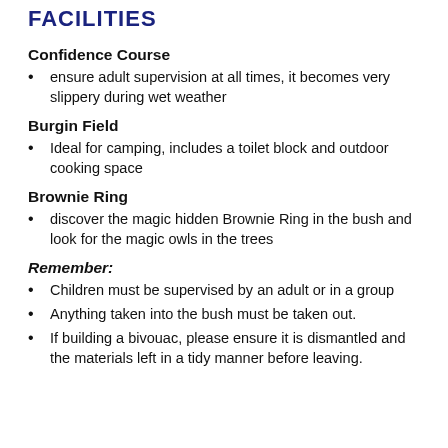FACILITIES
Confidence Course
ensure adult supervision at all times, it becomes very slippery during wet weather
Burgin Field
Ideal for camping, includes a toilet block and outdoor cooking space
Brownie Ring
discover the magic hidden Brownie Ring in the bush and look for the magic owls in the trees
Remember:
Children must be supervised by an adult or in a group
Anything taken into the bush must be taken out.
If building a bivouac, please ensure it is dismantled and the materials left in a tidy manner before leaving.